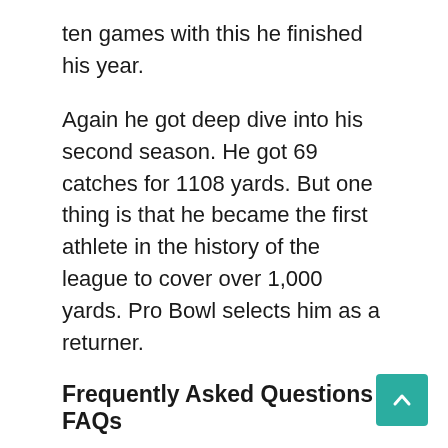ten games with this he finished his year.
Again he got deep dive into his second season. He got 69 catches for 1108 yards. But one thing is that he became the first athlete in the history of the league to cover over 1,000 yards. Pro Bowl selects him as a returner.
Frequently Asked Questions FAQs
Q.1 What is Antonio Brown's wife's name?
Ans: According to the report he has five children with his girlfriends. Although there is